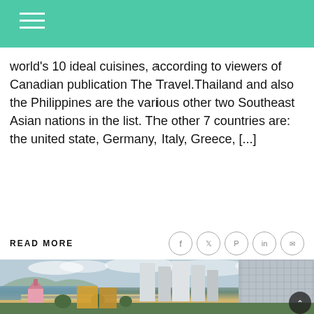world's 10 ideal cuisines, according to viewers of Canadian publication The Travel. Thailand and also the Philippines are the various other two Southeast Asian nations in the list. The other 7 countries are: the united state, Germany, Italy, Greece, [...]
READ MORE
[Figure (photo): Aerial view of a coastal city with tall buildings, beach, and a pink church in the foreground — likely Nha Trang, Vietnam]